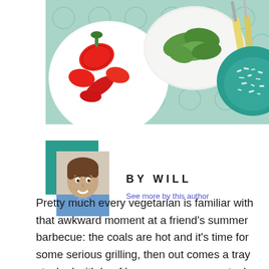[Figure (photo): Top-down photo of food on a teal patterned tablecloth: a white plate with chopped red bell peppers, a plate with green salad, cutlery with yellow handles, and a teal plate with grated cheese.]
[Figure (photo): Headshot of a smiling young man with brown hair wearing a blue shirt, framed by a teal square accent in the upper-left corner.]
BY WILL
See more by this author
Pretty much every vegetarian is familiar with that awkward moment at a friend’s summer barbecue: the coals are hot and it’s time for some serious grilling, then out comes a tray stacked with beef burgers, sausages, steaks